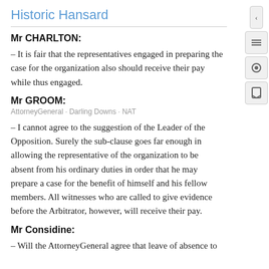Historic Hansard
Mr CHARLTON:
– It is fair that the representatives engaged in preparing the case for the organization also should receive their pay while thus engaged.
Mr GROOM:
AttorneyGeneral · Darling Downs · NAT
– I cannot agree to the suggestion of the Leader of the Opposition. Surely the sub-clause goes far enough in allowing the representative of the organization to be absent from his ordinary duties in order that he may prepare a case for the benefit of himself and his fellow members. All witnesses who are called to give evidence before the Arbitrator, however, will receive their pay.
Mr Considine:
– Will the AttorneyGeneral agree that leave of absence to